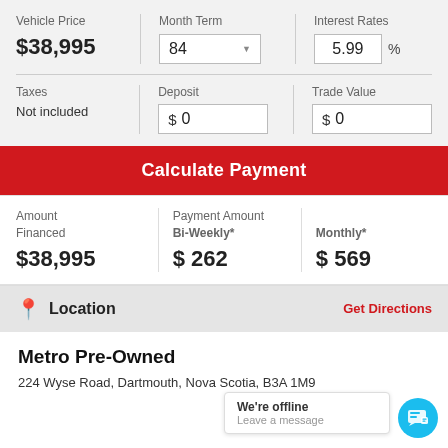Vehicle Price
$38,995
Month Term
84
Interest Rates
5.99 %
Taxes
Not included
Deposit
$ 0
Trade Value
$ 0
Calculate Payment
Amount Financed
$38,995
Payment Amount
Bi-Weekly*
$ 262
Monthly*
$ 569
Location
Get Directions
Metro Pre-Owned
224 Wyse Road, Dartmouth, Nova Scotia, B3A 1M9
We're offline
Leave a message